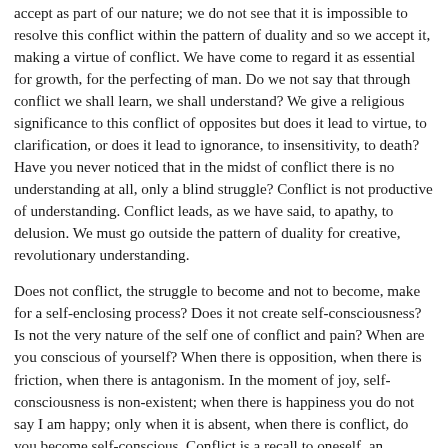accept as part of our nature; we do not see that it is impossible to resolve this conflict within the pattern of duality and so we accept it, making a virtue of conflict. We have come to regard it as essential for growth, for the perfecting of man. Do we not say that through conflict we shall learn, we shall understand? We give a religious significance to this conflict of opposites but does it lead to virtue, to clarification, or does it lead to ignorance, to insensitivity, to death? Have you never noticed that in the midst of conflict there is no understanding at all, only a blind struggle? Conflict is not productive of understanding. Conflict leads, as we have said, to apathy, to delusion. We must go outside the pattern of duality for creative, revolutionary understanding.
Does not conflict, the struggle to become and not to become, make for a self-enclosing process? Does it not create self-consciousness? Is not the very nature of the self one of conflict and pain? When are you conscious of yourself? When there is opposition, when there is friction, when there is antagonism. In the moment of joy, self-consciousness is non-existent; when there is happiness you do not say I am happy; only when it is absent, when there is conflict, do you become self-conscious. Conflict is a recall to oneself, an awareness of one's own limitation; it is this which causes self-consciousness. This constant struggle leads to many forms of escape, to illusion; without understanding the nature of conflict, the acceptance of authority, belief or ideology only leads to ignorance